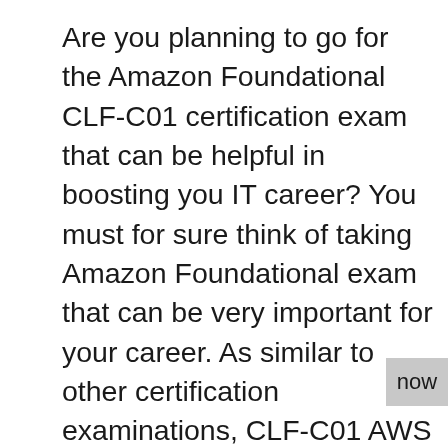Are you planning to go for the Amazon Foundational CLF-C01 certification exam that can be helpful in boosting you IT career? You must for sure think of taking Amazon Foundational exam that can be very important for your career. As similar to other certification examinations, CLF-C01 AWS Certified Cloud Practitioner Exam is essential to help the professionals in every way. One needs to invest some time and also put some efforts in order to achieve the best in their field. One can find many online learning materials who actually will not guarantee accurate results, it often gets then difficult for the people to manage and study and on the other hand clear the CLF-C01 AWS Certified Cloud Practitioner Exam. But now there is nothing to worry about, CLF-C01 exam can be easily prepared with the help of